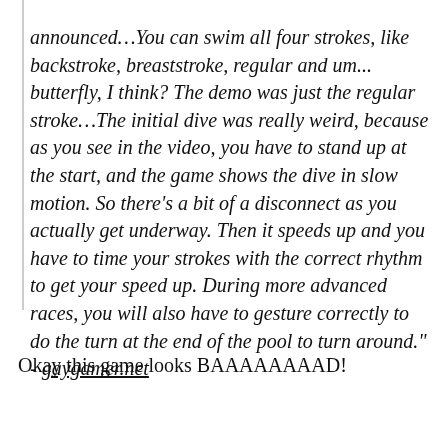announced…You can swim all four strokes, like backstroke, breaststroke, regular and um... butterfly, I think? The demo was just the regular stroke…The initial dive was really weird, because as you see in the video, you have to stand up at the start, and the game shows the dive in slow motion. So there's a bit of a disconnect as you actually get underway. Then it speeds up and you have to time your strokes with the correct rhythm to get your speed up. During more advanced races, you will also have to gesture correctly to do the turn at the end of the pool to turn around." - gaygamer.net
Okay this game looks BAAAAAAAAD!